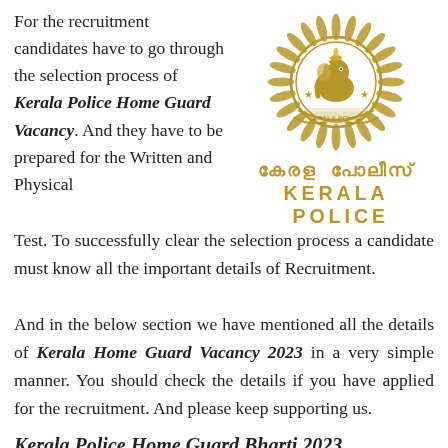For the recruitment candidates have to go through the selection process of Kerala Police Home Guard Vacancy. And they have to be prepared for the Written and Physical Test. To successfully clear the selection process a candidate must know all the important details of Recruitment.
[Figure (logo): Kerala Police official logo with Malayalam text 'കേരള പോലീസ്' and English text 'KERALA POLICE']
And in the below section we have mentioned all the details of Kerala Home Guard Vacancy 2023 in a very simple manner. You should check the details if you have applied for the recruitment. And please keep supporting us.
Kerala Police Home Guard Bharti 2023